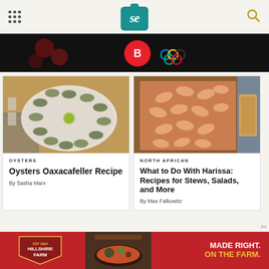Serious Eats logo and navigation
[Figure (screenshot): Advertisement banner with dark background, red circular logo, and Olympic rings]
[Figure (photo): Oysters Oaxacafeller on a round plate garnished with lime, arranged in a circle]
OYSTERS
Oysters Oaxacafeller Recipe
By Sasha Marx
[Figure (photo): Shrimp in harissa sauce on a foil-lined baking tray, with bread in background]
NORTH AFRICAN
What to Do With Harissa: Recipes for Stews, Salads, and More
By Max Falkowitz
[Figure (photo): Hillshire Farm advertisement: cast iron skillet with food, MADE RIGHT. ON THE FARM. text]